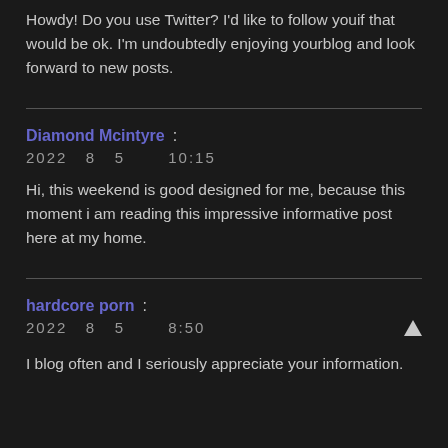Howdy! Do you use Twitter? I'd like to follow youif that would be ok. I'm undoubtedly enjoying yourblog and look forward to new posts.
Diamond Mcintyre :
2022 8 5 10:15
Hi, this weekend is good designed for me, because this moment i am reading this impressive informative post here at my home.
hardcore porn :
2022 8 5 8:50
I blog often and I seriously appreciate your information.